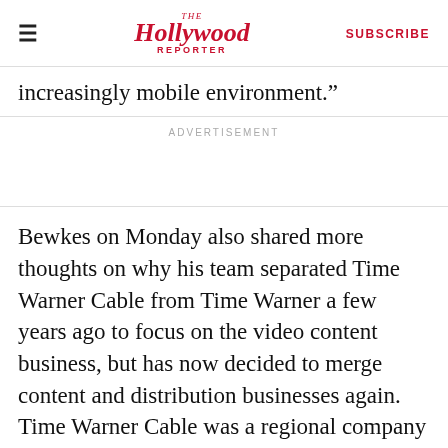The Hollywood Reporter — SUBSCRIBE
increasingly mobile environment.”
ADVERTISEMENT
Bewkes on Monday also shared more thoughts on why his team separated Time Warner Cable from Time Warner a few years ago to focus on the video content business, but has now decided to merge content and distribution businesses again. Time Warner Cable was a regional company with “the limitations that cable had at that time,” he said, adding it needed to consolidate to get more efficient and he had felt that wouldn’t be accomplished as